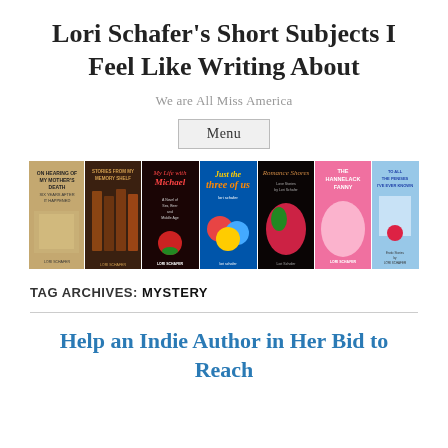Lori Schafer's Short Subjects I Feel Like Writing About
We are All Miss America
Menu
[Figure (illustration): A horizontal strip of 7 book covers by Lori Schafer including: On Hearing of My Mother's Death Six Years After It Happened, Stories from My Memory Shelf, My Life with Michael, Just the Three of Us, Romance Shores, The Hannelack Fanny, To All the Penises I've Ever Known]
TAG ARCHIVES: MYSTERY
Help an Indie Author in Her Bid to Reach